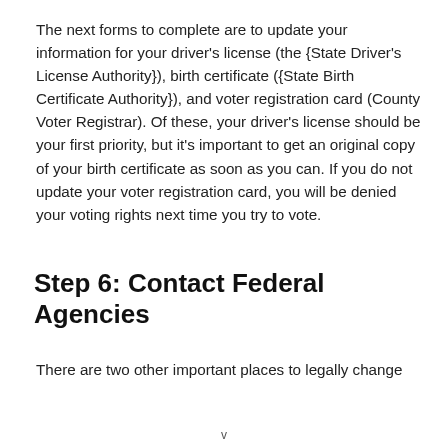The next forms to complete are to update your information for your driver's license (the {State Driver's License Authority}), birth certificate ({State Birth Certificate Authority}), and voter registration card (County Voter Registrar). Of these, your driver's license should be your first priority, but it's important to get an original copy of your birth certificate as soon as you can. If you do not update your voter registration card, you will be denied your voting rights next time you try to vote.
Step 6: Contact Federal Agencies
There are two other important places to legally change